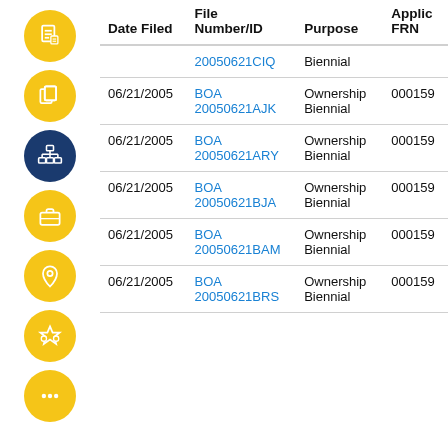[Figure (other): Vertical sidebar with 7 circular icon buttons (yellow and dark blue) representing navigation menu items: document, copy, network/diagram (dark blue), briefcase, location pin, award/star, and more (ellipsis).]
| Date Filed | File Number/ID | Purpose | Applic FRN |
| --- | --- | --- | --- |
|  | 20050621CIQ | Biennial |  |
| 06/21/2005 | BOA 20050621AJK | Ownership Biennial | 000159 |
| 06/21/2005 | BOA 20050621ARY | Ownership Biennial | 000159 |
| 06/21/2005 | BOA 20050621BJA | Ownership Biennial | 000159 |
| 06/21/2005 | BOA 20050621BAM | Ownership Biennial | 000159 |
| 06/21/2005 | BOA ... | Ownership Biennial | 000159 |